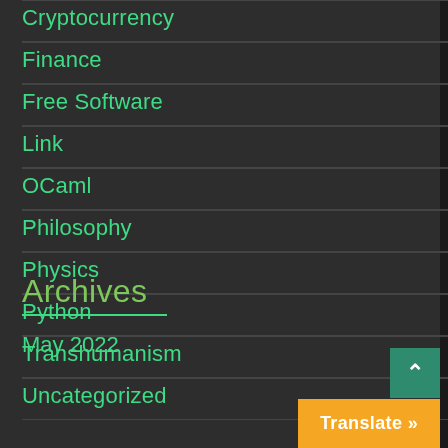Cryptocurrency
Finance
Free Software
Link
OCaml
Philosophy
Physics
Python
Transhumanism
Uncategorized
Archives
May 2022